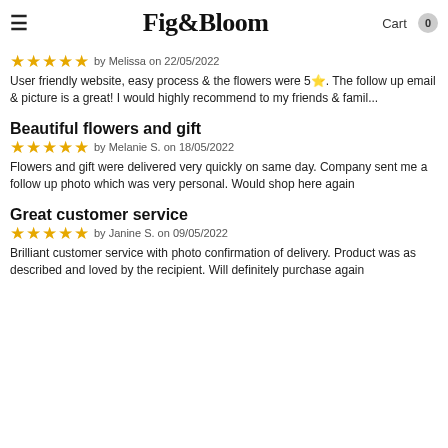Fig&Bloom | Cart 0
★★★★★ by Melissa on 22/05/2022
User friendly website, easy process & the flowers were 5⭐. The follow up email & picture is a great! I would highly recommend to my friends & famil...
Beautiful flowers and gift
★★★★★ by Melanie S. on 18/05/2022
Flowers and gift were delivered very quickly on same day. Company sent me a follow up photo which was very personal. Would shop here again
Great customer service
★★★★★ by Janine S. on 09/05/2022
Brilliant customer service with photo confirmation of delivery. Product was as described and loved by the recipient. Will definitely purchase again